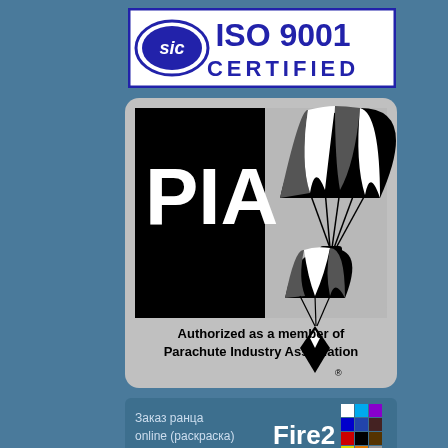[Figure (logo): ISO 9001 Certified badge with SIC logo on the left and bold blue text 'ISO 9001 CERTIFIED' on the right]
[Figure (logo): PIA (Parachute Industry Association) membership badge. Black rounded rectangle with large white letters 'PIA' on left, grey right panel with two parachute icons. Text below: 'Authorized as a member of Parachute Industry Association']
[Figure (infographic): Fire2 online order banner for backpack coloring (Заказ ранца online раскраска) with color swatch grid]
[Figure (infographic): Partial second order banner at bottom edge]